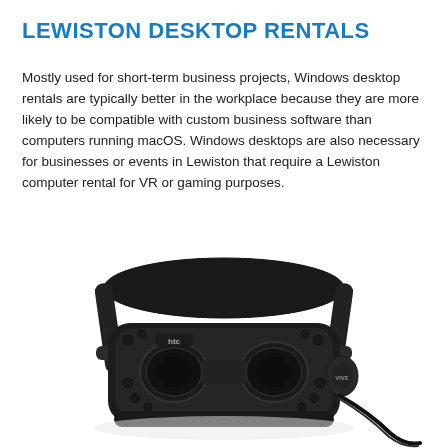LEWISTON DESKTOP RENTALS
Mostly used for short-term business projects, Windows desktop rentals are typically better in the workplace because they are more likely to be compatible with custom business software than computers running macOS. Windows desktops are also necessary for businesses or events in Lewiston that require a Lewiston computer rental for VR or gaming purposes.
[Figure (photo): HTC Vive virtual reality headset shown in three-quarter view against white background, with adjustable black straps and 'VIVE' branding visible on the side.]